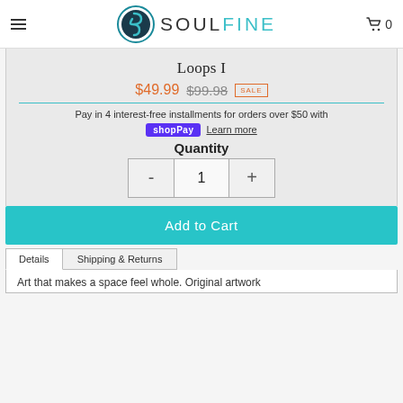SOULFINE
Loops I
$49.99 $99.98 SALE
Pay in 4 interest-free installments for orders over $50 with shopPay Learn more
Quantity
- 1 +
Add to Cart
Details | Shipping & Returns
Art that makes a space feel whole. Original artwork